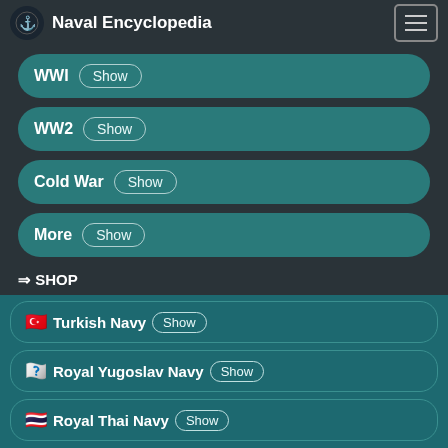Naval Encyclopedia
WWI Show
WW2 Show
Cold War Show
More Show
⇒ SHOP
Turkish Navy Show
Royal Yugoslav Navy Show
Royal Thai Navy Show
Minor Navies Show
✈ Naval Aviation